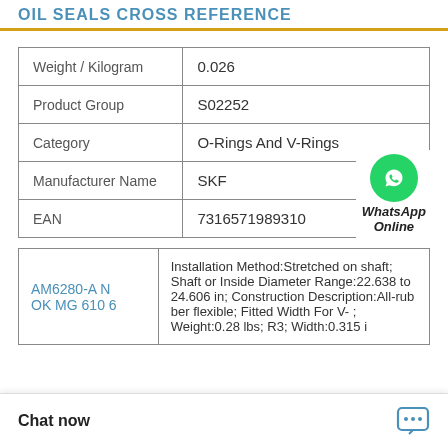OIL SEALS CROSS REFERENCE
|  |  |
| --- | --- |
| Weight / Kilogram | 0.026 |
| Product Group | S02252 |
| Category | O-Rings And V-Rings |
| Manufacturer Name | SKF |
| EAN | 7316571989310 |
|  |  |
| --- | --- |
| AM6280-A NOK MG 610 6 | Installation Method:Stretched on shaft; Shaft or Inside Diameter Range:22.638 to 24.606 in; Construction Description:All-rubber flexible; Fitted Width For V-; Weight:0.28 lbs; R3; Width:0.315 i |
Chat now